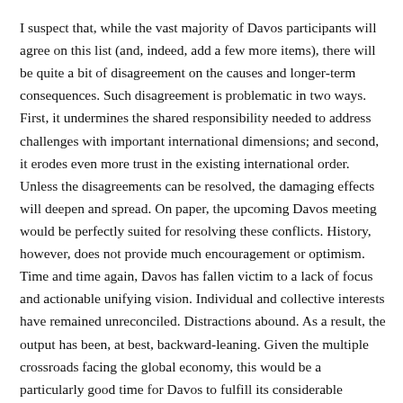I suspect that, while the vast majority of Davos participants will agree on this list (and, indeed, add a few more items), there will be quite a bit of disagreement on the causes and longer-term consequences. Such disagreement is problematic in two ways. First, it undermines the shared responsibility needed to address challenges with important international dimensions; and second, it erodes even more trust in the existing international order. Unless the disagreements can be resolved, the damaging effects will deepen and spread. On paper, the upcoming Davos meeting would be perfectly suited for resolving these conflicts. History, however, does not provide much encouragement or optimism. Time and time again, Davos has fallen victim to a lack of focus and actionable unifying vision. Individual and collective interests have remained unreconciled. Distractions abound. As a result, the output has been, at best, backward-leaning. Given the multiple crossroads facing the global economy, this would be a particularly good time for Davos to fulfill its considerable potential — to look ahead, not back. To identify solutions instead of just